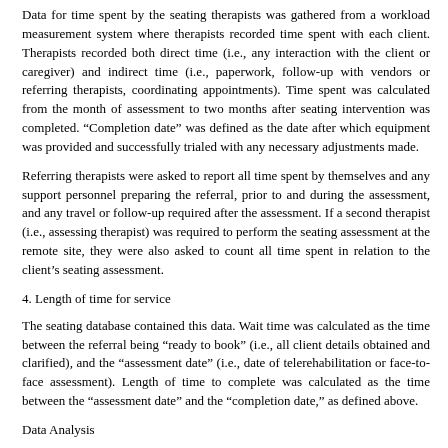Data for time spent by the seating therapists was gathered from a workload measurement system where therapists recorded time spent with each client. Therapists recorded both direct time (i.e., any interaction with the client or caregiver) and indirect time (i.e., paperwork, follow-up with vendors or referring therapists, coordinating appointments). Time spent was calculated from the month of assessment to two months after seating intervention was completed. “Completion date” was defined as the date after which equipment was provided and successfully trialed with any necessary adjustments made.
Referring therapists were asked to report all time spent by themselves and any support personnel preparing the referral, prior to and during the assessment, and any travel or follow-up required after the assessment. If a second therapist (i.e., assessing therapist) was required to perform the seating assessment at the remote site, they were also asked to count all time spent in relation to the client’s seating assessment.
4. Length of time for service
The seating database contained this data. Wait time was calculated as the time between the referral being “ready to book” (i.e., all client details obtained and clarified), and the “assessment date” (i.e., date of telerehabilitation or face-to-face assessment). Length of time to complete was calculated as the time between the “assessment date” and the “completion date,” as defined above.
Data Analysis
Quantitative data was entered into an SPSS 15.0 database. Frequency distributions were used to describe characteristics of the three groups. One-way analyses of variance were used to compare means between three groups for each of the variables. The alpha level was set at .05; post-hoc comparisons were performed when statistical significance was found. Comments written on the QUEST and the answers to the open-ended questions were transcribed verbatim and are summarized in the results section.